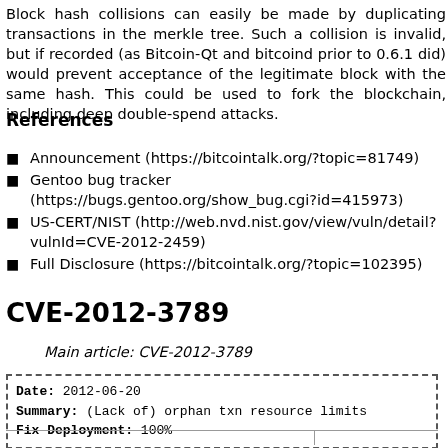Block hash collisions can easily be made by duplicating transactions in the merkle tree. Such a collision is invalid, but if recorded (as Bitcoin-Qt and bitcoind prior to 0.6.1 did) would prevent acceptance of the legitimate block with the same hash. This could be used to fork the blockchain, including deep double-spend attacks.
References
Announcement (https://bitcointalk.org/?topic=81749)
Gentoo bug tracker (https://bugs.gentoo.org/show_bug.cgi?id=415973)
US-CERT/NIST (http://web.nvd.nist.gov/view/vuln/detail?vulnId=CVE-2012-2459)
Full Disclosure (https://bitcointalk.org/?topic=102395)
CVE-2012-3789
Main article: CVE-2012-3789
| Date | Summary | Fix Deployment |
| --- | --- | --- |
| 2012-06-20 | (Lack of) orphan txn resource limits | 100% |